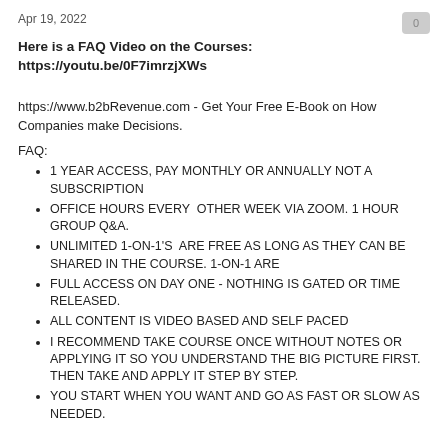Apr 19, 2022
Here is a FAQ Video on the Courses: https://youtu.be/0F7imrzjXWs
https://www.b2bRevenue.com - Get Your Free E-Book on How Companies make Decisions.
FAQ:
1 YEAR ACCESS, PAY MONTHLY OR ANNUALLY NOT A SUBSCRIPTION
OFFICE HOURS EVERY  OTHER WEEK VIA ZOOM. 1 HOUR GROUP Q&A.
UNLIMITED 1-ON-1'S  ARE FREE AS LONG AS THEY CAN BE SHARED IN THE COURSE. 1-ON-1 ARE
FULL ACCESS ON DAY ONE - NOTHING IS GATED OR TIME RELEASED.
ALL CONTENT IS VIDEO BASED AND SELF PACED
I RECOMMEND TAKE COURSE ONCE WITHOUT NOTES OR APPLYING IT SO YOU UNDERSTAND THE BIG PICTURE FIRST. THEN TAKE AND APPLY IT STEP BY STEP.
YOU START WHEN YOU WANT AND GO AS FAST OR SLOW AS NEEDED.